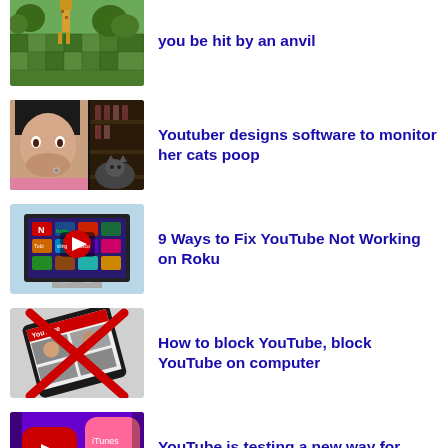[Figure (screenshot): Minecraft-style game screenshot showing a giraffe on green grass with blocky environment]
you be hit by an anvil
[Figure (screenshot): Woman with hand over mouth looking surprised, with a cat visible in a dark background]
Youtuber designs software to monitor her cats poop
[Figure (screenshot): TV/monitor showing Roku interface with YouTube play button overlay]
9 Ways to Fix YouTube Not Working on Roku
[Figure (screenshot): Tablet showing YouTube website with a red X overlaid on it]
How to block YouTube, block YouTube on computer
[Figure (screenshot): Close-up of a smartphone showing the YouTube app icon]
YouTube is testing a new way for select creators to promote their